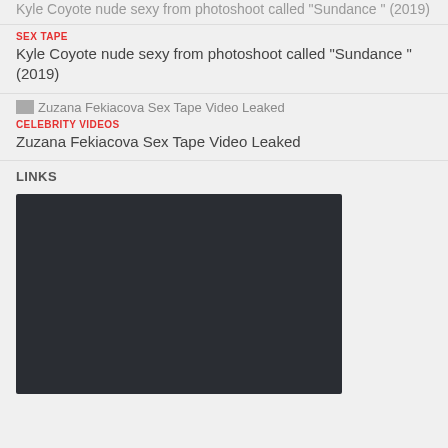Kyle Coyote nude sexy from photoshoot called “Sundance ” (2019)
SEX TAPE
Kyle Coyote nude sexy from photoshoot called “Sundance ” (2019)
CELEBRITY VIDEOS
Zuzana Fekiacova Sex Tape Video Leaked
LINKS
[Figure (screenshot): Dark embedded video player area, approximately 326x200px, dark charcoal background color #2a2d33]